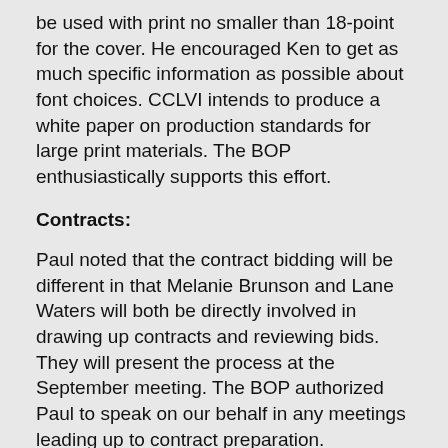be used with print no smaller than 18-point for the cover. He encouraged Ken to get as much specific information as possible about font choices. CCLVI intends to produce a white paper on production standards for large print materials. The BOP enthusiastically supports this effort.
Contracts:
Paul noted that the contract bidding will be different in that Melanie Brunson and Lane Waters will both be directly involved in drawing up contracts and reviewing bids. They will present the process at the September meeting. The BOP authorized Paul to speak on our behalf in any meetings leading up to contract preparation.
Policy Manual:
Paul asked the BOP to look at the 2009 Policy Manual and begin to choose sections to review and edit. Jenine will send everyone the manual as an email attachment.